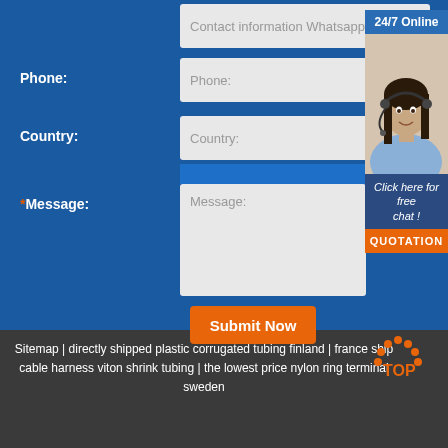Contact information Whatsapp
Phone:
Phone:
Country:
Country:
*Message:
Message:
Submit Now
24/7 Online
[Figure (photo): Woman with headset, customer support representative]
Click here for free chat !
QUOTATION
Sitemap | directly shipped plastic corrugated tubing finland | france ship cable harness viton shrink tubing | the lowest price nylon ring terminal sweden